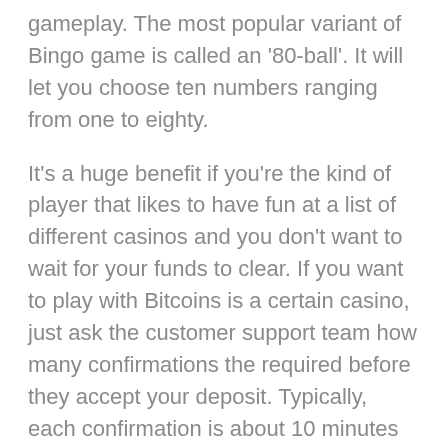gameplay. The most popular variant of Bingo game is called an '80-ball'. It will let you choose ten numbers ranging from one to eighty.
It's a huge benefit if you're the kind of player that likes to have fun at a list of different casinos and you don't want to wait for your funds to clear. If you want to play with Bitcoins is a certain casino, just ask the customer support team how many confirmations the required before they accept your deposit. Typically, each confirmation is about 10 minutes of real-time.
Basically, Bitcoin is a digital currency that you can purchase. It offers higher levels of anonymity while transactions are almost instant, taking just a couple of minutes to be completed. On the downside, as it happens with other payment methods, not all